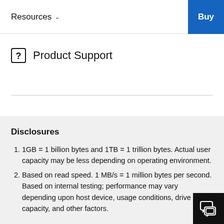Resources  Buy
Product Support
Disclosures
1GB = 1 billion bytes and 1TB = 1 trillion bytes. Actual user capacity may be less depending on operating environment.
Based on read speed. 1 MB/s = 1 million bytes per second. Based on internal testing; performance may vary depending upon host device, usage conditions, drive capacity, and other factors.